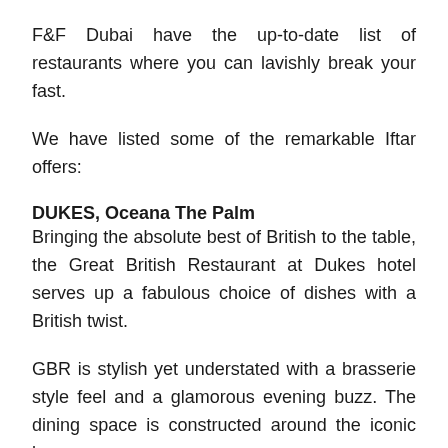F&F Dubai have the up-to-date list of restaurants where you can lavishly break your fast.
We have listed some of the remarkable Iftar offers:
DUKES, Oceana The Palm
Bringing the absolute best of British to the table, the Great British Restaurant at Dukes hotel serves up a fabulous choice of dishes with a British twist.
GBR is stylish yet understated with a brasserie style feel and a glamorous evening buzz. The dining space is constructed around the iconic bar,